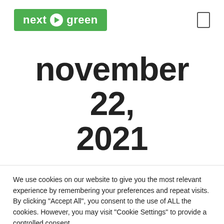next green
november 22, 2021
We use cookies on our website to give you the most relevant experience by remembering your preferences and repeat visits. By clicking “Accept All”, you consent to the use of ALL the cookies. However, you may visit "Cookie Settings" to provide a controlled consent.